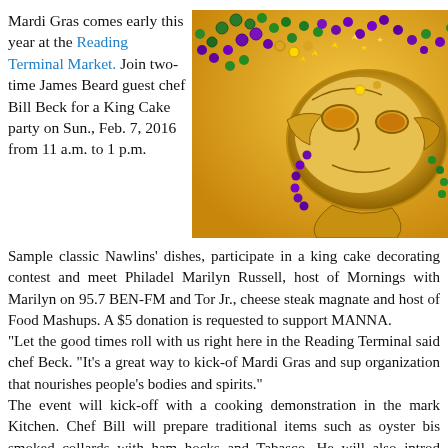Mardi Gras comes early this year at the Reading Terminal Market. Join two-time James Beard guest chef Bill Beck for a King Cake party on Sun., Feb. 7, 2016 from 11 a.m. to 1 p.m.
[Figure (photo): A golden Mardi Gras mask decorated with purple, green, and gold beads and glittery decorations against a yellow/golden background.]
Sample classic Nawlins' dishes, participate in a king cake decorating contest and meet Philadelphia's Marilyn Russell, host of Mornings with Marilyn on 95.7 BEN-FM and Tom Jr., cheese steak magnate and host of Food Mashups. A $5 donation is requested to support MANNA.
“Let the good times roll with us right here in the Reading Terminal said chef Beck. “It’s a great way to kick-of Mardi Gras and sup organization that nourishes people’s bodies and spirits.”
The event will kick-off with a cooking demonstration in the mark Kitchen. Chef Bill will prepare traditional items such as oyster bis smoked collards with ham hocks and Tabasco. He will also introd creations like Eggs St. Rita, a take on eggs Benedict with grilled cor shrimp and andouille scrapple, spinach and Creole Hollandaise.
A celebrity judged king-cake decorating contest follows at 12:30. Do MANNA will pair off to create their own masterpiece using a special